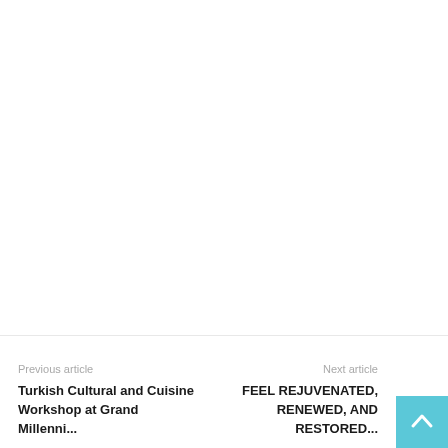Previous article
Turkish Cultural and Cuisine
Workshop at Grand Millennium...
Next article
FEEL REJUVENATED,
RENEWED, AND RESTORED...